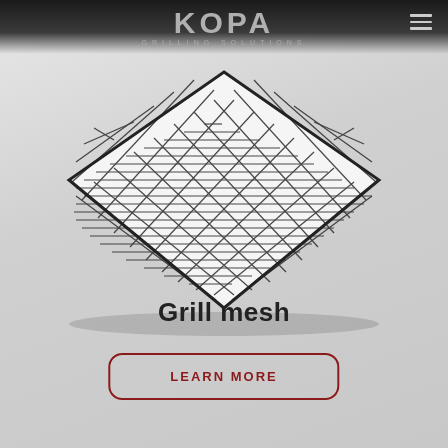KOPA GRILLING SOLUTIONS
[Figure (photo): A square stainless steel grill mesh/grate shown at an angle on a light grey background. The mesh has a woven wire grid pattern.]
Grill mesh
LEARN MORE